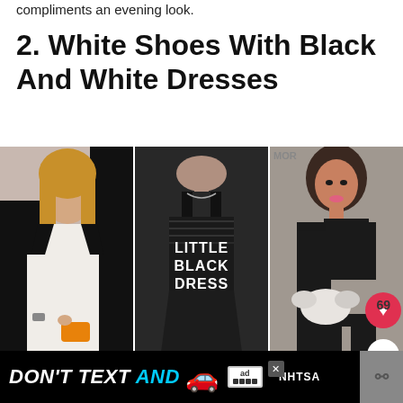compliments an evening look.
2. White Shoes With Black And White Dresses
[Figure (photo): Three photos side by side: (1) a woman in a white dress and black blazer holding an orange clutch, (2) a mannequin wearing a black sequin 'LITTLE BLACK DRESS' tank dress, (3) a woman in a black cutout asymmetric dress with a white bow bag]
[Figure (infographic): Advertisement banner at the bottom: black background with white bold italic text 'DON'T TEXT AND' in yellow/white, cyan 'AND', a red car emoji, an 'ad' logo box, and NHTSA logo. An X close button is visible. A grey strip is on the right.]